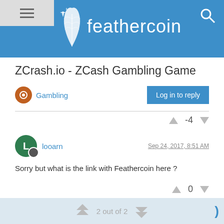feathercoin
ZCrash.io - ZCash Gambling Game
Gambling
Log in to reply
-4
looarn  Sep 24, 2017, 8:51 AM
Sorry but what is the link with Feathercoin here ?
0
2 out of 2